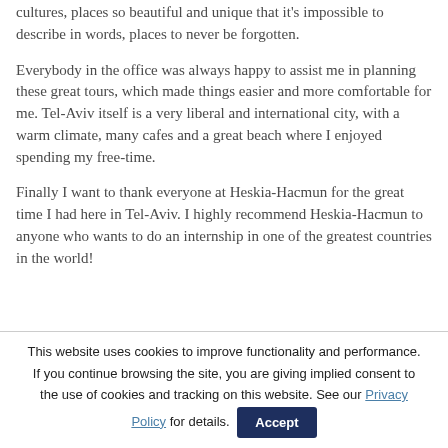cultures, places so beautiful and unique that it's impossible to describe in words, places to never be forgotten.
Everybody in the office was always happy to assist me in planning these great tours, which made things easier and more comfortable for me. Tel-Aviv itself is a very liberal and international city, with a warm climate, many cafes and a great beach where I enjoyed spending my free-time.
Finally I want to thank everyone at Heskia-Hacmun for the great time I had here in Tel-Aviv. I highly recommend Heskia-Hacmun to anyone who wants to do an internship in one of the greatest countries in the world!
This website uses cookies to improve functionality and performance. If you continue browsing the site, you are giving implied consent to the use of cookies and tracking on this website. See our Privacy Policy for details. Accept